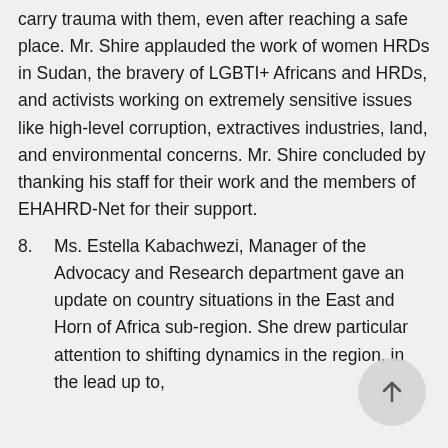carry trauma with them, even after reaching a safe place. Mr. Shire applauded the work of women HRDs in Sudan, the bravery of LGBTI+ Africans and HRDs, and activists working on extremely sensitive issues like high-level corruption, extractives industries, land, and environmental concerns. Mr. Shire concluded by thanking his staff for their work and the members of EHAHRD-Net for their support.
8. Ms. Estella Kabachwezi, Manager of the Advocacy and Research department gave an update on country situations in the East and Horn of Africa sub-region. She drew particular attention to shifting dynamics in the region, in the lead up to,